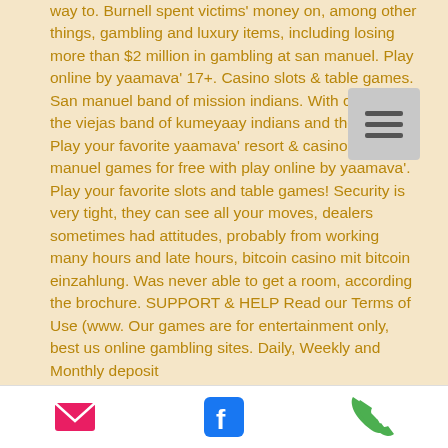way to. Burnell spent victims' money on, among other things, gambling and luxury items, including losing more than $2 million in gambling at san manuel. Play online by yaamava' 17+. Casino slots &amp; table games. San manuel band of mission indians. With casinos , the viejas band of kumeyaay indians and the san. Play your favorite yaamava' resort &amp; casino at san manuel games for free with play online by yaamava'. Play your favorite slots and table games! Security is very tight, they can see all your moves, dealers sometimes had attitudes, probably from working many hours and late hours, bitcoin casino mit bitcoin einzahlung. Was never able to get a room, according the brochure. SUPPORT & HELP Read our Terms of Use (www. Our games are for entertainment only, best us online gambling sites. Daily, Weekly and Monthly deposit
[Figure (other): Hamburger menu button (three horizontal lines) on a grey rounded rectangle background]
Email icon | Facebook icon | Phone icon